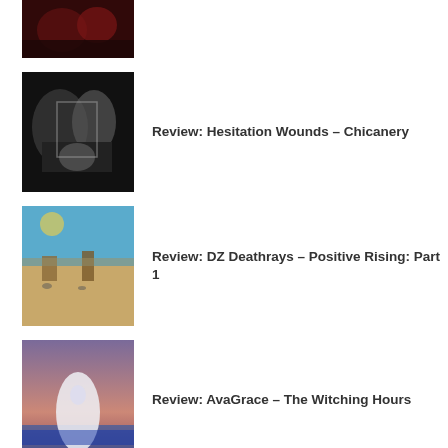[Figure (photo): Partially visible album/article thumbnail at top - dark image with red tones, people visible]
Review: Hesitation Wounds – Chicanery
Review: DZ Deathrays – Positive Rising: Part 1
Review: AvaGrace – The Witching Hours
PODCASTS
VIEW ALL
Podcast Interview: Counterfeit. (Leeds Festival 2019)